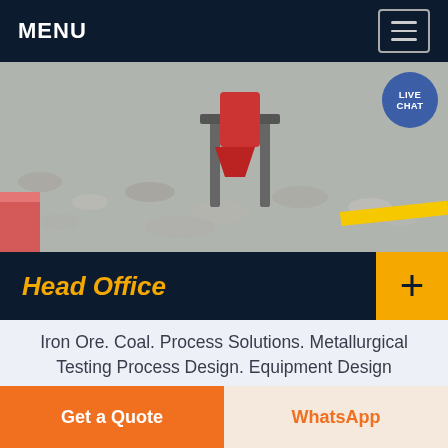MENU
[Figure (photo): Aerial/ground view of gravel/aggregate material with industrial processing equipment (red hopper/funnel structure on metal frame) and a yellow stripe, likely a mineral processing facility.]
Head Office
Iron Ore. Coal. Process Solutions. Metallurgical Testing Process Design. Equipment Design Selection. Gravity Separation. Centrifugal Jig Technology. Electrostatic Separation. Magnetic Separation. Shaking Tables, Knudsen Bowl. Process Audits Optimisation. New Products from RD. Plant Design. World's
Get a Quote | WhatsApp